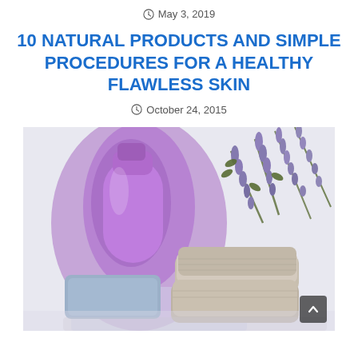May 3, 2019
10 NATURAL PRODUCTS AND SIMPLE PROCEDURES FOR A HEALTHY FLAWLESS SKIN
October 24, 2015
[Figure (photo): Beauty and skincare products: a purple liquid soap bottle, a bar of blue/grey soap, folded beige towels, and dried lavender sprigs on a light background.]